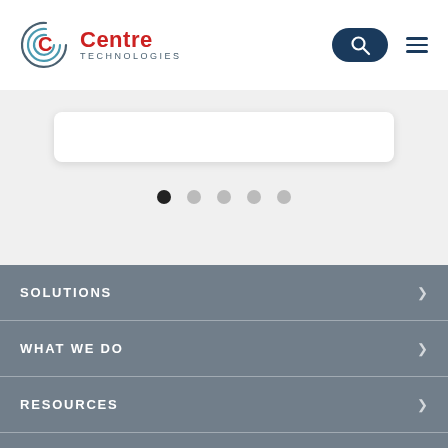[Figure (logo): Centre Technologies logo with concentric arc circles and red C letter, red 'Centre' text and grey 'TECHNOLOGIES' text]
[Figure (screenshot): Slider/carousel UI with white card, pagination dots (5 total, first active/dark)]
SOLUTIONS
WHAT WE DO
RESOURCES
GET IN TOUCH
CENTRE TECHNOLOGIES